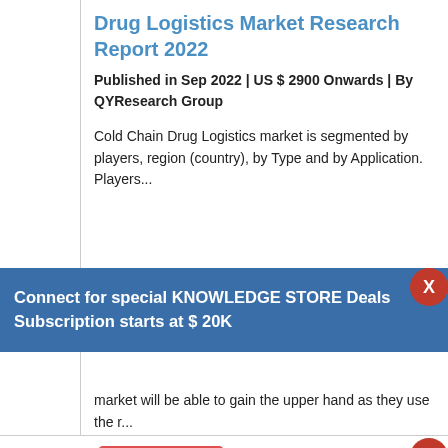Drug Logistics Market Research Report 2022
Published in Sep 2022 | US $ 2900 Onwards | By QYResearch Group
Cold Chain Drug Logistics market is segmented by players, region (country), by Type and by Application. Players...
Connect for special KNOWLEDGE STORE Deals Subscription starts at $ 20K
market will be able to gain the upper hand as they use the r...
Buy Now
Buy Now
Buy Any Report Avail 30% Code:
Leave a message